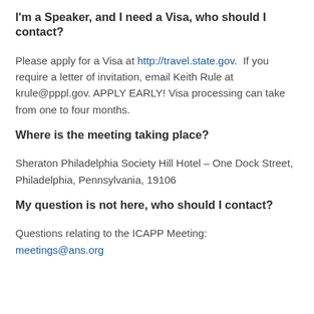I'm a Speaker, and I need a Visa, who should I contact?
Please apply for a Visa at http://travel.state.gov.  If you require a letter of invitation, email Keith Rule at krule@pppl.gov. APPLY EARLY! Visa processing can take from one to four months.
Where is the meeting taking place?
Sheraton Philadelphia Society Hill Hotel – One Dock Street, Philadelphia, Pennsylvania, 19106
My question is not here, who should I contact?
Questions relating to the ICAPP Meeting: meetings@ans.org